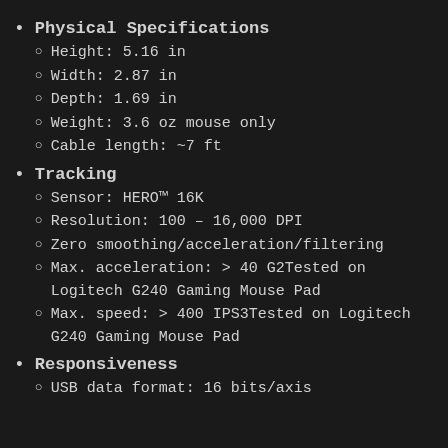Physical Specifications
Height: 5.16 in
Width: 2.87 in
Depth: 1.69 in
Weight: 3.6 oz mouse only
Cable length: ~7 ft
Tracking
Sensor: HERO™ 16K
Resolution: 100 – 16,000 DPI
Zero smoothing/acceleration/filtering
Max. acceleration: > 40 G2Tested on Logitech G240 Gaming Mouse Pad
Max. speed: > 400 IPS3Tested on Logitech G240 Gaming Mouse Pad
Responsiveness
USB data format: 16 bits/axis